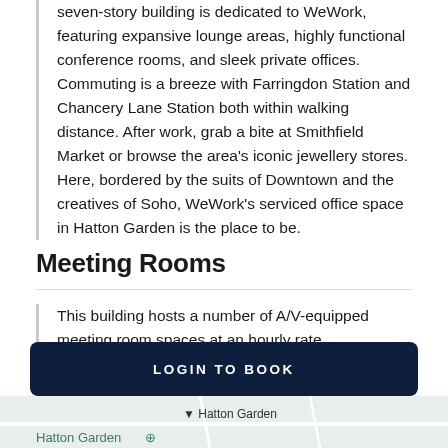seven-story building is dedicated to WeWork, featuring expansive lounge areas, highly functional conference rooms, and sleek private offices. Commuting is a breeze with Farringdon Station and Chancery Lane Station both within walking distance. After work, grab a bite at Smithfield Market or browse the area's iconic jewellery stores. Here, bordered by the suits of Downtown and the creatives of Soho, WeWork's serviced office space in Hatton Garden is the place to be.
Meeting Rooms
This building hosts a number of A/V-equipped meeting room spaces at an hourly rate.
Lo...
LOGIN TO BOOK
[Figure (map): Partial map view showing Hatton Garden area with location marker and label]